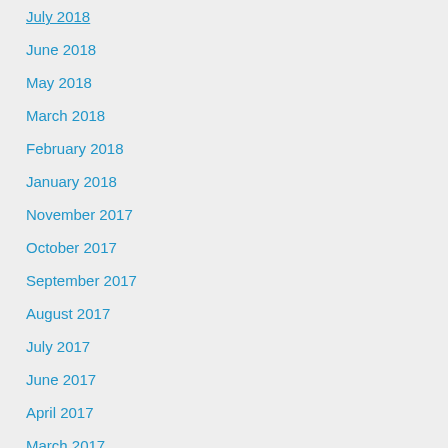July 2018
June 2018
May 2018
March 2018
February 2018
January 2018
November 2017
October 2017
September 2017
August 2017
July 2017
June 2017
April 2017
March 2017
February 2017